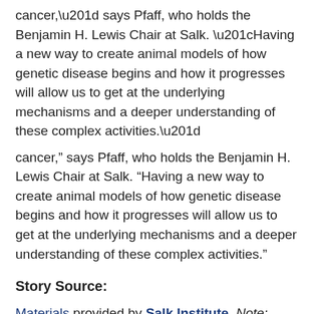cancer,” says Pfaff, who holds the Benjamin H. Lewis Chair at Salk. “Having a new way to create animal models of how genetic disease begins and how it progresses will allow us to get at the underlying mechanisms and a deeper understanding of these complex activities.”
Story Source:
Materials provided by Salk Institute. Note: Content may be edited for style and length.
View original article here Source